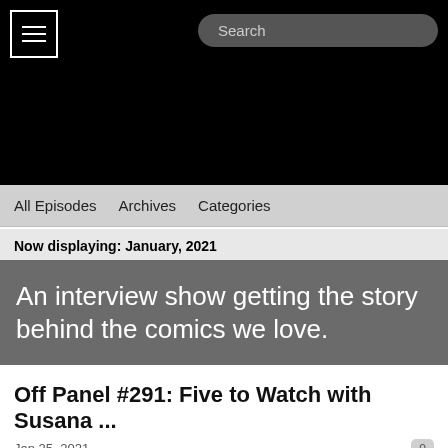[Figure (screenshot): Black header bar with hamburger menu icon (three horizontal lines in a white bordered square) on the left and a dark rounded search box on the right with placeholder text 'Search']
All Episodes   Archives   Categories
Now displaying: January, 2021
An interview show getting the story behind the comics we love.
Off Panel #291: Five to Watch with Susana ...
Jan 25, 2021
In this week's episode of Off Panel, Polygon's Comics Editor Susana Polo joins to chat about five things we're each watching for in comics in 20201. Polo discusses her comic book origin story, how The Mary Sue came together, her approach at Polygon, what's coming for DC, format changes, the box office